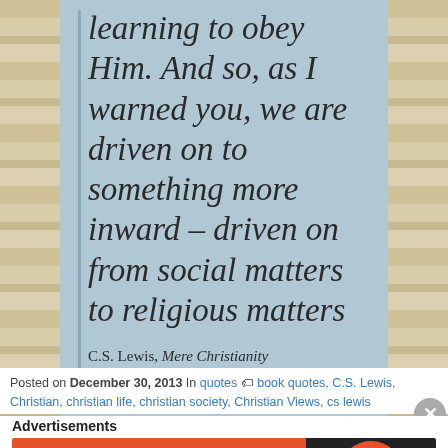[Figure (illustration): A speech bubble with light blue background containing an italic serif quote: 'learning to obey Him. And so, as I warned you, we are driven on to something more inward – driven on from social matters to religious matters' attributed to C.S. Lewis, Mere Christianity. An old map is visible on the left and right margins.]
Posted on December 30, 2013 In quotes  book quotes, C.S. Lewis, Christian, christian life, christian society, Christian Views, cs lewis
Advertisements
[Figure (screenshot): DuckDuckGo advertisement banner: orange left panel with text 'Search, browse, and email with more privacy. All in One Free App' and dark right panel with DuckDuckGo duck logo.]